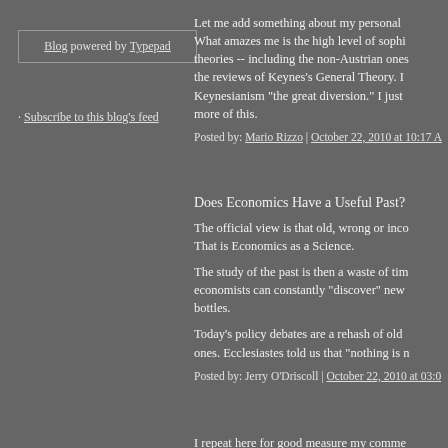Blog powered by Typepad
Subscribe to this blog's feed
Let me add something about my personal What amazes me is the high level of sophi theories -- including the non-Austrian ones the reviews of Keynes's General Theory. I Keynesianism "the great diversion." I just more of this.
Posted by: Mario Rizzo | October 22, 2010 at 10:17 A
Does Economics Have a Useful Past?
The official view is that old, wrong or inco That is Economics as a Science.
The study of the past is then a waste of tim economists can constantly "discover" new bottles.
Today's policy debates are a rehash of old ones. Ecclesiastes told us that "nothing is n
Posted by: Jerry O'Driscoll | October 22, 2010 at 03:0
I repeat here for good measure my comme Keynesianism was an unfortunate "diversi pre-Keynesian macro that Keynesians ch